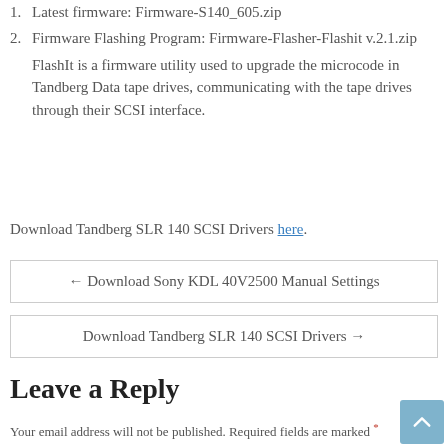1. Latest firmware: Firmware-S140_605.zip
2. Firmware Flashing Program: Firmware-Flasher-Flashit v.2.1.zip
FlashIt is a firmware utility used to upgrade the microcode in Tandberg Data tape drives, communicating with the tape drives through their SCSI interface.
Download Tandberg SLR 140 SCSI Drivers here.
← Download Sony KDL 40V2500 Manual Settings
Download Tandberg SLR 140 SCSI Drivers →
Leave a Reply
Your email address will not be published. Required fields are marked *